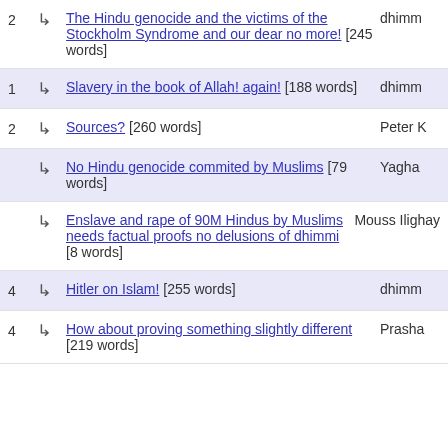2 → The Hindu genocide and the victims of the Stockholm Syndrome and our dear no more! [245 words] dhimm
1 → Slavery in the book of Allah! again! [188 words] dhimm
2 → Sources? [260 words] Peter K
→ No Hindu genocide commited by Muslims [79 words] Yagha
→ Enslave and rape of 90M Hindus by Muslims needs factual proofs no delusions of dhimmi [8 words] Mouss Ilighay
4 → Hitler on Islam! [255 words] dhimm
4 → How about proving something slightly different [219 words] Prasha